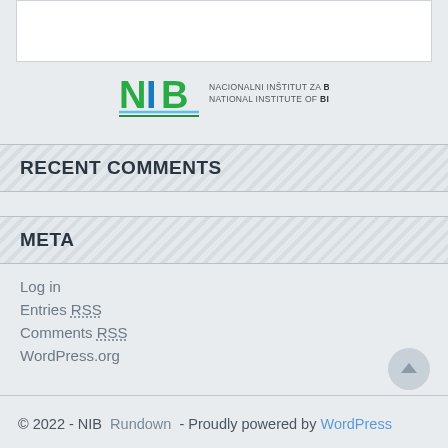[Figure (logo): NIB - Nacionalni Institut za Biologijo / National Institute of Biology logo with green and blue NIB text graphic]
RECENT COMMENTS
META
Log in
Entries RSS
Comments RSS
WordPress.org
© 2022 - NIB  Rundown - Proudly powered by WordPress